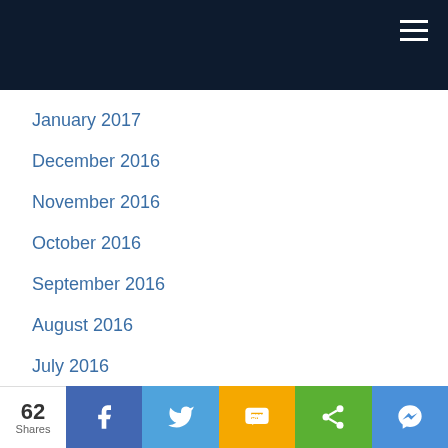January 2017
December 2016
November 2016
October 2016
September 2016
August 2016
July 2016
June 2016
May 2016
April 2016
March 2016
February 2016
62 Shares | Facebook | Twitter | SMS | Share | Messenger